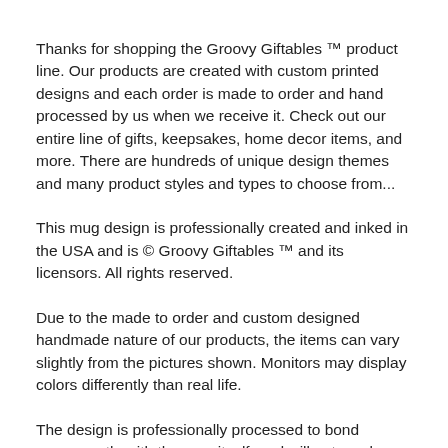Thanks for shopping the Groovy Giftables ™ product line. Our products are created with custom printed designs and each order is made to order and hand processed by us when we receive it. Check out our entire line of gifts, keepsakes, home decor items, and more. There are hundreds of unique design themes and many product styles and types to choose from...
This mug design is professionally created and inked in the USA and is © Groovy Giftables ™ and its licensors. All rights reserved.
Due to the made to order and custom designed handmade nature of our products, the items can vary slightly from the pictures shown. Monitors may display colors differently than real life.
The design is professionally processed to bond permanently with the mug itself, and will not crack or peel off. This is not a vinyl or sticker design.
Materials: permanent ink, dishwasher safe materials, microwave safe materials, coffee mug, tea mug, 15 oz large coffee mug, 11 oz